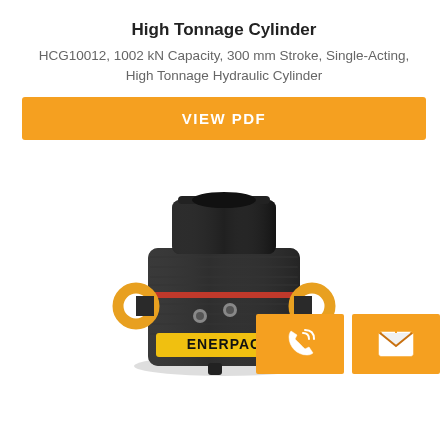High Tonnage Cylinder
HCG10012, 1002 kN Capacity, 300 mm Stroke, Single-Acting, High Tonnage Hydraulic Cylinder
VIEW PDF
[Figure (photo): Black Enerpac high tonnage hydraulic cylinder (model HCG10012) with yellow lifting rings on sides, red seal ring, and ENERPAC branding label. Two silver port fittings visible on front. Compact cylindrical body with flat top plunger.]
[Figure (other): Orange phone/call button icon]
[Figure (other): Orange email/envelope button icon]